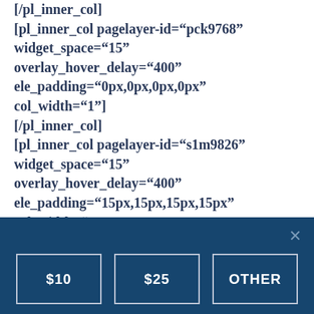[/pl_inner_col]
[pl_inner_col pagelayer-id="pck9768" widget_space="15" overlay_hover_delay="400" ele_padding="0px,0px,0px,0px" col_width="1"]
[/pl_inner_col]
[pl_inner_col pagelayer-id="s1m9826" widget_space="15" overlay_hover_delay="400" ele_padding="15px,15px,15px,15px" col_width="32" ele_shadow="2,2,15,#fcdca9ff,2,"
[Figure (screenshot): Dark blue donation bar with close X button and three donation buttons: $10, $25, OTHER]